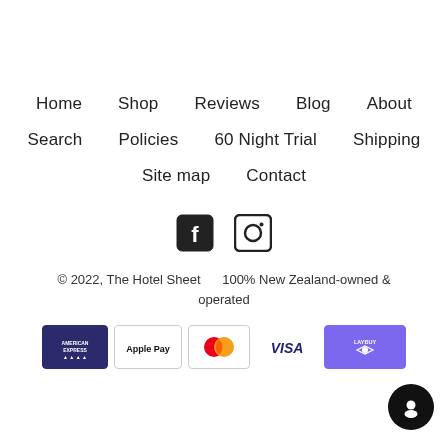Home  Shop  Reviews  Blog  About
Search  Policies  60 Night Trial  Shipping
Site map  Contact
[Figure (illustration): Facebook and Instagram social media icons]
© 2022, The Hotel Sheet      100% New Zealand-owned & operated
[Figure (other): Payment method icons: American Express, Apple Pay, MasterCard, Visa, Laybuy]